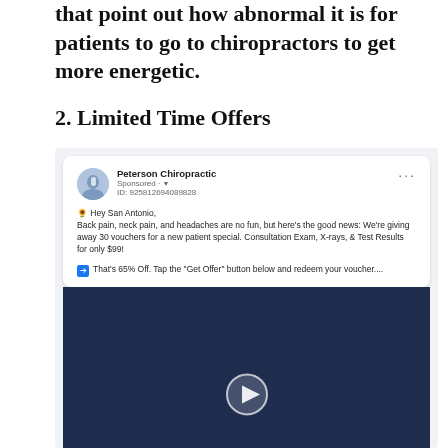that point out how abnormal it is for patients to go to chiropractors to get more energetic.
2. Limited Time Offers
[Figure (screenshot): Facebook ad screenshot from Peterson Chiropractic (Sponsored, ID: 925812694089828) advertising 65% off first visit with a new patient special: Consultation Exam, X-rays, & Test Results for only $99. Includes a dark navy banner with text '65% OFF Your First Visit' and a play button icon.]